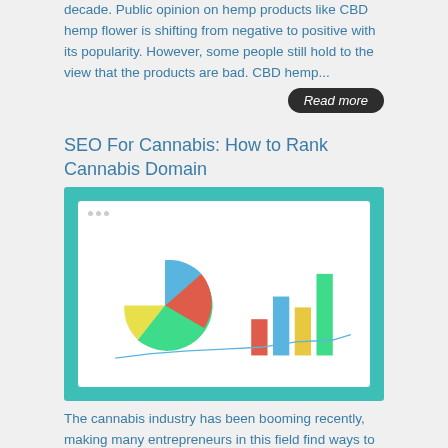decade. Public opinion on hemp products like CBD hemp flower is shifting from negative to positive with its popularity. However, some people still hold to the view that the products are bad. CBD hemp...
Read more
SEO For Cannabis: How to Rank Cannabis Domain
[Figure (screenshot): Screenshot mockup of a browser window showing a pie chart with green, red, blue, and yellow segments, a bar chart with orange, blue, yellow, and green bars, and a line chart below.]
The cannabis industry has been booming recently, making many entrepreneurs in this field find ways to boost their online presence. Every marijuana company is now working hard to drive as much traffic as they can to their sites. One major goal that all these...
Read more
6 Reasons To Ditch Your Sleeping